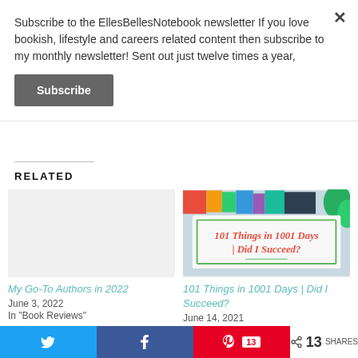Subscribe to the EllesBellesNotebook newsletter If you love bookish, lifestyle and careers related content then subscribe to my monthly newsletter! Sent out just twelve times a year,
Subscribe
RELATED
[Figure (photo): Thumbnail placeholder (no image) for 'My Go-To Authors in 2022']
My Go-To Authors in 2022
June 3, 2022
In "Book Reviews"
[Figure (photo): Image with text '101 Things in 1001 Days | Did I Succeed?' in red cursive on white card with green border, books and plant in background]
101 Things in 1001 Days | Did I Succeed?
June 14, 2021
< 13 SHARES